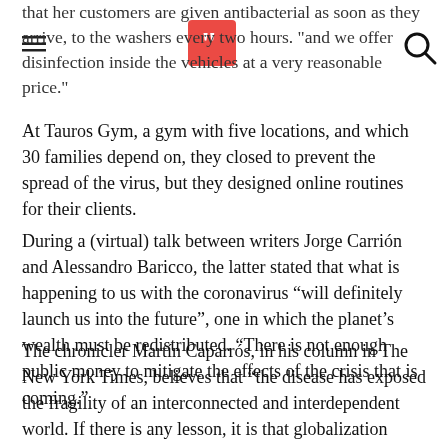that her customers are given antibacterial as soon as they arrive, to the washers every two hours. "and we offer disinfection inside the vehicles at a very reasonable price."
At Tauros Gym, a gym with five locations, and which 30 families depend on, they closed to prevent the spread of the virus, but they designed online routines for their clients.
During a (virtual) talk between writers Jorge Carrión and Alessandro Baricco, the latter stated that what is happening to us with the coronavirus “will definitely launch us into the future”, one in which the planet’s wealth must be redistributed. “There is not enough public money to mitigate the effects of the crisis that is coming.”
The chronicler Martín Caparrós, in his column in The New York Times, believes that “the disease has exposed the fragility of an interconnected and interdependent world. If there is any lesson, it is that globalization makes us all vulnerable: we are closer to chaos than the powerful thought. ”